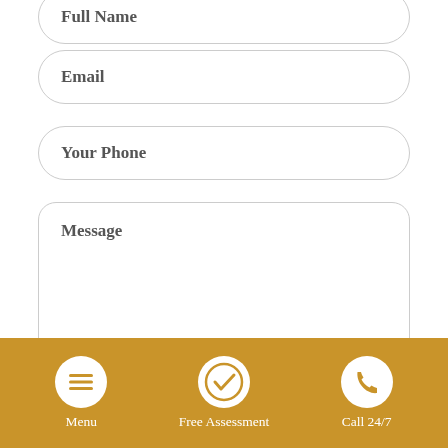[Figure (screenshot): Contact form partial view showing Full Name input field (top, partially cut off), Email input field, Your Phone input field, Message textarea, and a teal SEND button. Below is a golden/amber navigation footer bar with three icons: Menu (hamburger), Free Assessment (checkmark), and Call 24/7 (phone).]